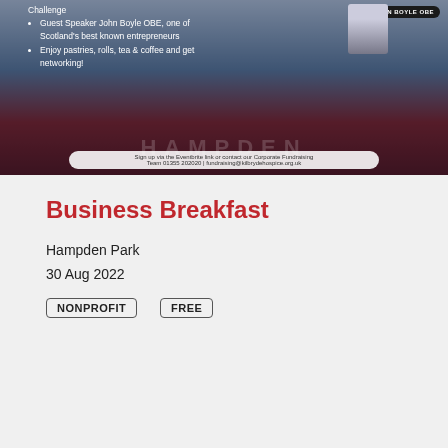[Figure (photo): Event promotional banner showing Hampden Park stadium with text about Business Breakfast event, Guest Speaker John Boyle OBE, pastries/refreshments, and sign-up details. Features a photo of John Boyle OBE and a dark oval badge with his name.]
Business Breakfast
Hampden Park
30 Aug 2022
NONPROFIT
FREE
[Figure (photo): Second promotional banner for Business Breakfast event at Hampden Park, sponsored by Hampden and Kilbryde hospice. Contains an advertisement overlay for Deloitte Public Accounting Senior Jobs in Ashburn An. on jobble.com. Shows bullet points about Scotland's best known entrepreneurs, pastries, refreshments, networking, and sign-up details.]